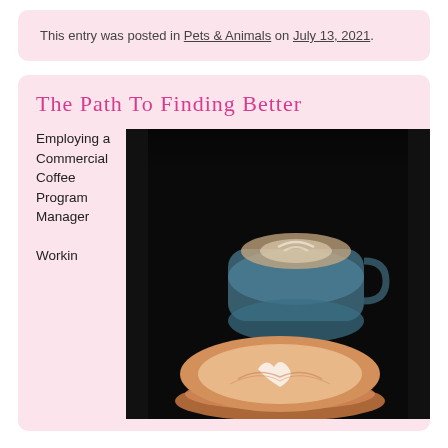This entry was posted in Pets & Animals on July 13, 2021.
The Path To Finding Better
Employing a Commercial Coffee Program Manager
[Figure (photo): Coffee cups with latte art on a dark background. Two blue cups visible, one in the background and one in the foreground, both containing drinks with milk foam art in heart/tulip patterns.]
Working